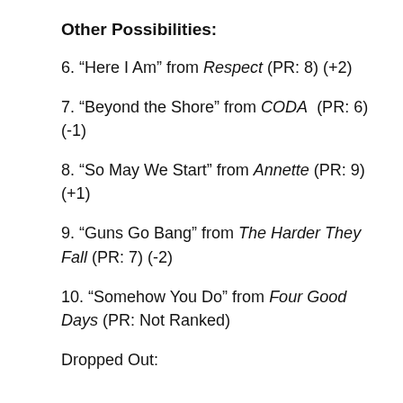Other Possibilities:
6. “Here I Am” from Respect (PR: 8) (+2)
7. “Beyond the Shore” from CODA  (PR: 6) (-1)
8. “So May We Start” from Annette (PR: 9) (+1)
9. “Guns Go Bang” from The Harder They Fall (PR: 7) (-2)
10. “Somehow You Do” from Four Good Days (PR: Not Ranked)
Dropped Out: